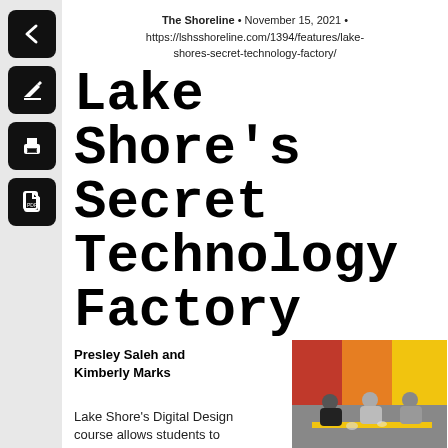The Shoreline • November 15, 2021 • https://lshsshoreline.com/1394/features/lake-shores-secret-technology-factory/
Lake Shore's Secret Technology Factory
Presley Saleh and Kimberly Marks
[Figure (photo): Students sitting at a table working on a Digital Design project in a classroom with colorful red, orange, and yellow wall panels. Three students are seated around a table with a yellow trim edge, appearing to collaborate on a project.]
Lake Shore's Digital Design course allows students to